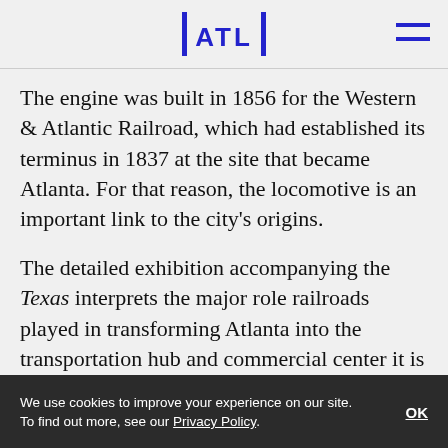ATL
The engine was built in 1856 for the Western & Atlantic Railroad, which had established its terminus in 1837 at the site that became Atlanta. For that reason, the locomotive is an important link to the city’s origins.
The detailed exhibition accompanying the Texas interprets the major role railroads played in transforming Atlanta into the transportation hub and commercial center it is today. The exhibition captures Atlanta’s beginning, in 1837, when a surveyor drove a stake
We use cookies to improve your experience on our site. To find out more, see our Privacy Policy. OK